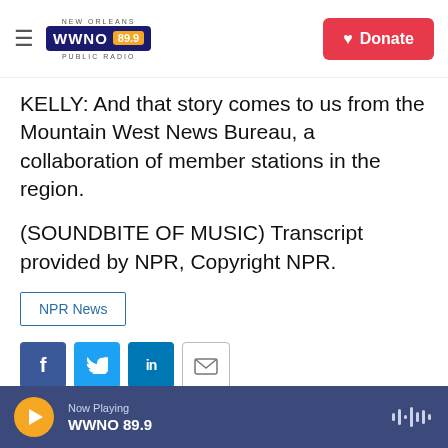WWNO 89.9 New Orleans Public Radio — Donate
KELLY: And that story comes to us from the Mountain West News Bureau, a collaboration of member stations in the region.
(SOUNDBITE OF MUSIC) Transcript provided by NPR, Copyright NPR.
NPR News
[Figure (other): Social sharing icons: Facebook, Twitter, LinkedIn, Email]
Nate Hegyi
Now Playing WWNO 89.9